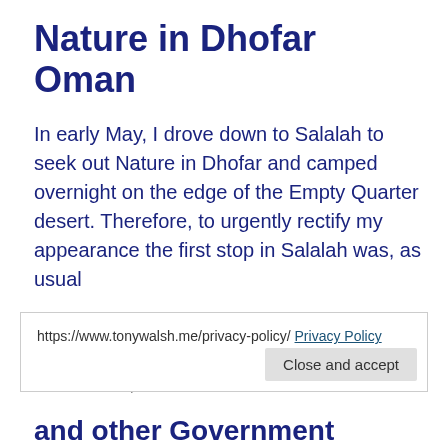Nature in Dhofar Oman
In early May, I drove down to Salalah to seek out Nature in Dhofar and camped overnight on the edge of the Empty Quarter desert. Therefore, to urgently rectify my appearance the first stop in Salalah was, as usual
Tony Walsh / 03/06/2007 / Dhofar, Natural / Arabian Gazelle, Barber shop Salalah, Hadi al Hikmani, Nature in Dhofar
https://www.tonywalsh.me/privacy-policy/ Privacy Policy Close and accept
and other Government